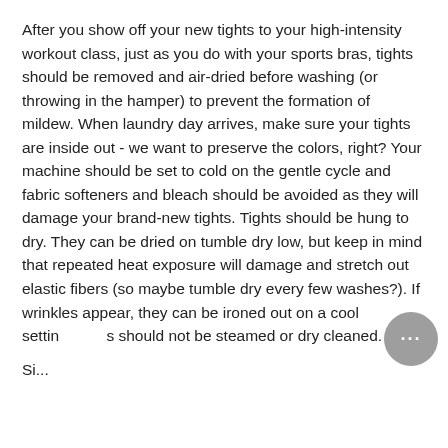After you show off your new tights to your high-intensity workout class, just as you do with your sports bras, tights should be removed and air-dried before washing (or throwing in the hamper) to prevent the formation of mildew. When laundry day arrives, make sure your tights are inside out - we want to preserve the colors, right? Your machine should be set to cold on the gentle cycle and fabric softeners and bleach should be avoided as they will damage your brand-new tights. Tights should be hung to dry. They can be dried on tumble dry low, but keep in mind that repeated heat exposure will damage and stretch out elastic fibers (so maybe tumble dry every few washes?). If wrinkles appear, they can be ironed out on a cool setting s should not be steamed or dry cleaned.
Sto...